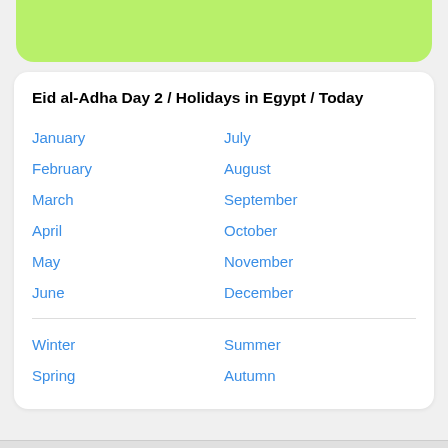Eid al-Adha Day 2 / Holidays in Egypt / Today
January
July
February
August
March
September
April
October
May
November
June
December
Winter
Summer
Spring
Autumn